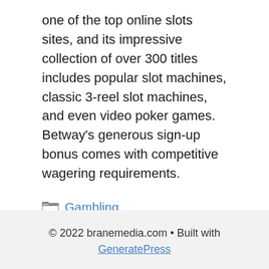one of the top online slots sites, and its impressive collection of over 300 titles includes popular slot machines, classic 3-reel slot machines, and even video poker games. Betway's generous sign-up bonus comes with competitive wagering requirements.
Gambling
Choosing an Online Slot
What Are the Slot Machine Symbols and How Do They Work?
© 2022 branemedia.com • Built with GeneratePress